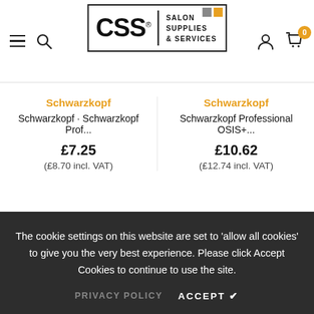CSS Salon Supplies & Services — navigation header with hamburger menu, search, logo, user icon, and cart (0)
Schwarzkopf
Schwarzkopf · Schwarzkopf Prof...
£7.25
(£8.70 incl. VAT)
Schwarzkopf
Schwarzkopf Professional OSIS+...
£10.62
(£12.74 incl. VAT)
The cookie settings on this website are set to 'allow all cookies' to give you the very best experience. Please click Accept Cookies to continue to use the site.
PRIVACY POLICY   ACCEPT ✔